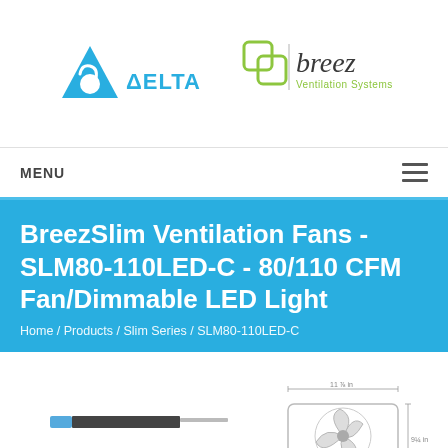[Figure (logo): Delta Breez Ventilation Systems logo with blue Delta triangle logo on left and green/grey Breez logo on right]
MENU
BreezSlim Ventilation Fans - SLM80-110LED-C - 80/110 CFM Fan/Dimmable LED Light
Home / Products / Slim Series / SLM80-110LED-C
[Figure (photo): Product photos showing slim ventilation fan from side profile and exploded/angled view]